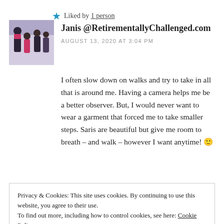Janis @RetirementallyChallenged.com
AUGUST 13, 2020 AT 3:04 PM
I often slow down on walks and try to take in all that is around me. Having a camera helps me be a better observer. But, I would never want to wear a garment that forced me to take smaller steps. Saris are beautiful but give me room to breath – and walk – however I want anytime! 🙂
Liked by 1 person
Reply
Privacy & Cookies: This site uses cookies. By continuing to use this website, you agree to their use. To find out more, including how to control cookies, see here: Cookie Policy
Close and accept
Janis – I loved the Sari story so much when Ann told it.